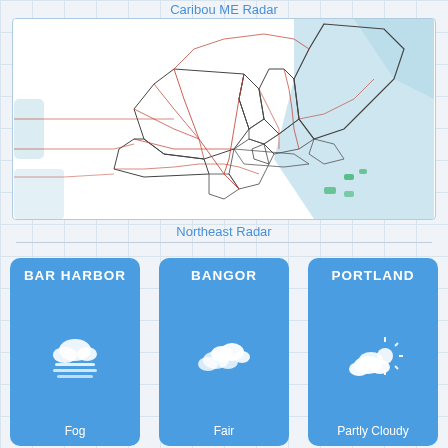Caribou ME Radar
[Figure (map): Caribou ME Radar map showing northeastern US states with road overlays and ocean areas highlighted in blue]
Northeast Radar
[Figure (infographic): Weather card for Bar Harbor showing Fog condition with fog icon]
[Figure (infographic): Weather card for Bangor showing Fair condition with cloud icon]
[Figure (infographic): Weather card for Portland showing Partly Cloudy condition with sun and cloud icon]